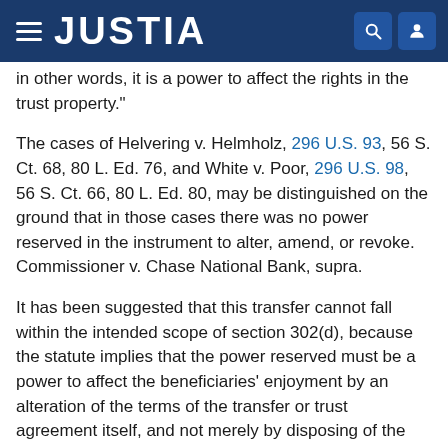JUSTIA
in other words, it is a power to affect the rights in the trust property."
The cases of Helvering v. Helmholz, 296 U.S. 93, 56 S. Ct. 68, 80 L. Ed. 76, and White v. Poor, 296 U.S. 98, 56 S. Ct. 66, 80 L. Ed. 80, may be distinguished on the ground that in those cases there was no power reserved in the instrument to alter, amend, or revoke. Commissioner v. Chase National Bank, supra.
It has been suggested that this transfer cannot fall within the intended scope of section 302(d), because the statute implies that the power reserved must be a power to affect the beneficiaries' enjoyment by an alteration of the terms of the transfer or trust agreement itself, and not merely by disposing of the subject matter of the agreement. This is to say that section 302(d) would not apply to a trust by A to B as